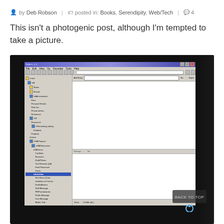by Deb Robson | posted in: Books, Serendipity, Web/Tech | 4
This isn't a photogenic post, although I'm tempted to take a picture.
[Figure (screenshot): Screenshot of a computer monitor showing a Windows XP-era file manager or outliner application with a tree-view sidebar on the left and a content pane on the right. The screen is photographed at an angle in a dark room. A 'BACK TO TOP' button with a circular arrow icon is visible in the lower right corner of the image.]